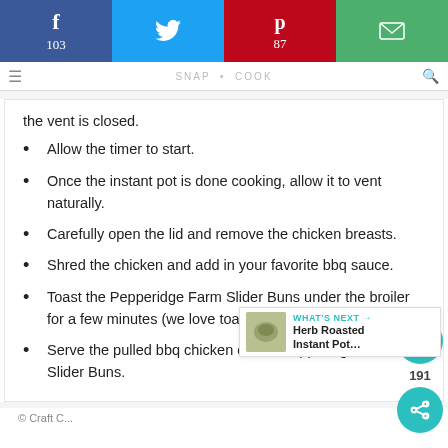f 103 | [twitter] | p 87 | [email]
the vent is closed.
Allow the timer to start.
Once the instant pot is done cooking, allow it to vent naturally.
Carefully open the lid and remove the chicken breasts.
Shred the chicken and add in your favorite bbq sauce.
Toast the Pepperidge Farm Slider Buns under the broiler for a few minutes (we love toasty buns!)
Serve the pulled bbq chicken on the Pepperidge Farm Slider Buns.
© Craft C...